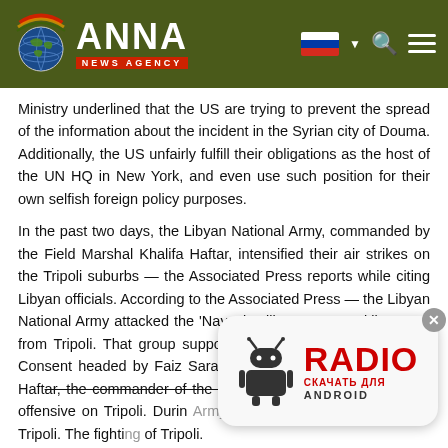ANNA NEWS AGENCY
Ministry underlined that the US are trying to prevent the spread of the information about the incident in the Syrian city of Douma. Additionally, the US unfairly fulfill their obligations as the host of the UN HQ in New York, and even use such position for their own selfish foreign policy purposes.
In the past two days, the Libyan National Army, commanded by the Field Marshal Khalifa Haftar, intensified their air strikes on the Tripoli suburbs — the Associated Press reports while citing Libyan officials. According to the Associated Press — the Libyan National Army attacked the 'Navazi' militant group, 7 kilometers from Tripoli. That group supports the Government of National Consent headed by Faiz Saraj. On 4th of April, Field Marshal Haftar, the commander of the Libyan National Army started an offensive on Tripoli. During Army launched the second south of Tripoli. The fighting of Tripoli.
[Figure (other): Advertisement overlay: RADIO - СКАЧАТЬ ДЛЯ ANDROID with Android robot logo]